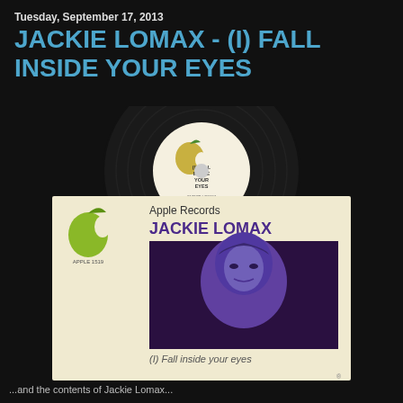Tuesday, September 17, 2013
JACKIE LOMAX - (I) FALL INSIDE YOUR EYES
[Figure (photo): Photo of a vinyl 45 RPM record on Apple Records label showing '(I) Fall Inside Your Eyes' by Jackie Lomax, together with the record sleeve showing the Apple Records logo, artist name JACKIE LOMAX, a portrait photo of Jackie Lomax, and the text '(I) Fall inside your eyes']
...and the contents of Jackie Lomax...